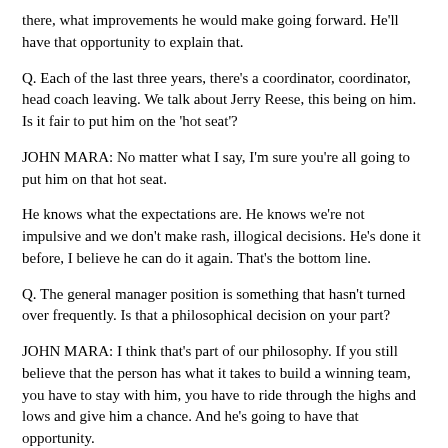there, what improvements he would make going forward. He'll have that opportunity to explain that.
Q. Each of the last three years, there's a coordinator, coordinator, head coach leaving. We talk about Jerry Reese, this being on him. Is it fair to put him on the 'hot seat'?
JOHN MARA: No matter what I say, I'm sure you're all going to put him on that hot seat.
He knows what the expectations are. He knows we're not impulsive and we don't make rash, illogical decisions. He's done it before, I believe he can do it again. That's the bottom line.
Q. The general manager position is something that hasn't turned over frequently. Is that a philosophical decision on your part?
JOHN MARA: I think that's part of our philosophy. If you still believe that the person has what it takes to build a winning team, you have to stay with him, you have to ride through the highs and lows and give him a chance. And he's going to have that opportunity.
Q. You spoke of the personnel department, has that been ongoing? Do you anticipate changes made to Jerry's staff?